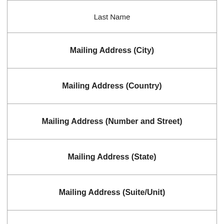| Last Name |
| Mailing Address (City) |
| Mailing Address (Country) |
| Mailing Address (Number and Street) |
| Mailing Address (State) |
| Mailing Address (Suite/Unit) |
| Mailing Address (Zip) |
| Marital Status |
|  |